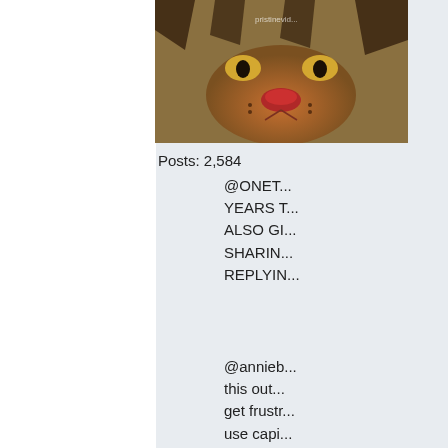[Figure (photo): Avatar image showing a close-up of a tiger's face]
Posts: 2,584
OJ...
@PTRK3...
@ONETA... YEARS T... ALSO GI... SHARIN... REPLYIN...
@annieb... this out... get frustr... use capi... me how...
I'm sorry... doc sent... resucitat... fighting... intelence... and for th... medicatio... my cd4 n... you cd4...